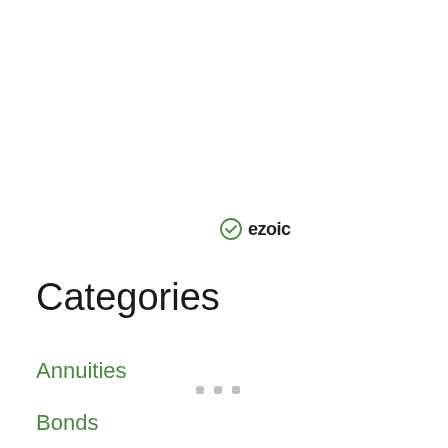[Figure (logo): Ezoic logo with circular checkmark icon and 'ezoic' wordmark in bold black text]
Report This Ad
Categories
Annuities
Bonds